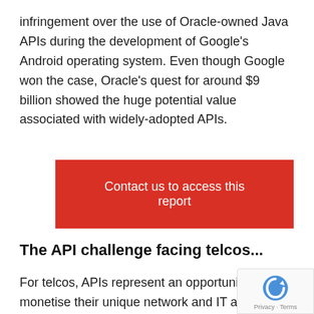infringement over the use of Oracle-owned Java APIs during the development of Google's Android operating system. Even though Google won the case, Oracle's quest for around $9 billion showed the huge potential value associated with widely-adopted APIs.
[Figure (other): Red button with white text reading 'Contact us to access this report']
The API challenge facing telcos...
For telcos, APIs represent an opportunity to monetise their unique network and IT assets making them available to third-parties. This i particularly important in the context of declinin